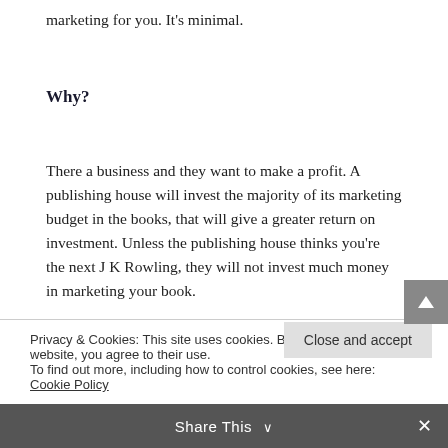marketing for you. It's minimal.
Why?
There a business and they want to make a profit. A publishing house will invest the majority of its marketing budget in the books, that will give a greater return on investment. Unless the publishing house thinks you're the next J K Rowling, they will not invest much money in marketing your book.
Privacy & Cookies: This site uses cookies. By continuing to use this website, you agree to their use.
To find out more, including how to control cookies, see here: Cookie Policy
Close and accept
Share This